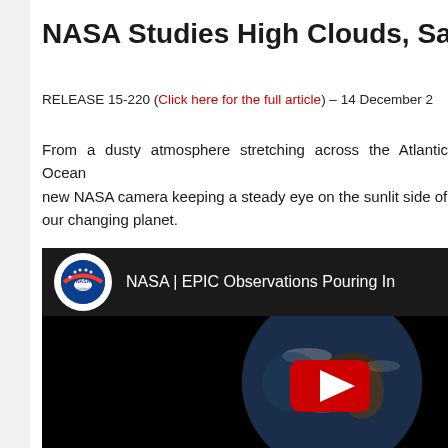NASA Studies High Clouds, Saharan Dust From…
RELEASE 15-220 (Click here for the full article) – 14 December 2…
From a dusty atmosphere stretching across the Atlantic Ocean… new NASA camera keeping a steady eye on the sunlit side of… our changing planet.
[Figure (screenshot): YouTube video thumbnail showing NASA | EPIC Observations Pouring In, with NASA Goddard logo and Earth image with red play button]